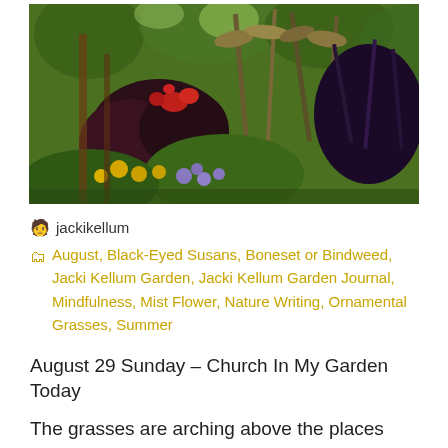[Figure (photo): Garden photo showing lush ornamental grasses, dark purple-leafed plants, red flowers, yellow Black-Eyed Susans, and purple Mist Flowers in a dense garden setting]
🧑 jackikellum
🗂 August, Black-Eyed Susans, Boneset or Bindweed, Jacki Kellum Garden, Jacki Kellum Garden Journal, Mindfulness, Mist Flower, Nature Writing, Ornamental Grasses, Summer
August 29 Sunday – Church In My Garden Today
The grasses are arching above the places where the perennials had bloomed only weeks ago. The Purple Fountain grass is darker than most of my